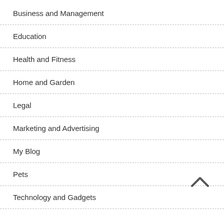Business and Management
Education
Health and Fitness
Home and Garden
Legal
Marketing and Advertising
My Blog
Pets
Technology and Gadgets